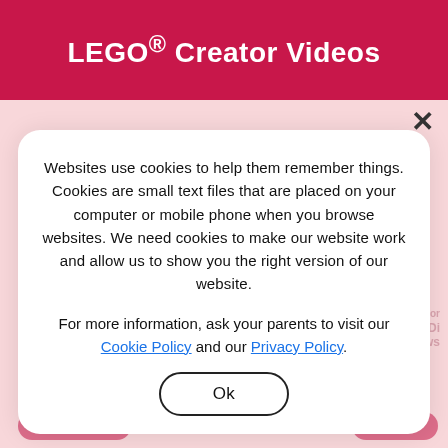LEGO® Creator Videos
Websites use cookies to help them remember things. Cookies are small text files that are placed on your computer or mobile phone when you browse websites. We need cookies to make our website work and allow us to show you the right version of our website.
For more information, ask your parents to visit our Cookie Policy and our Privacy Policy.
Ok